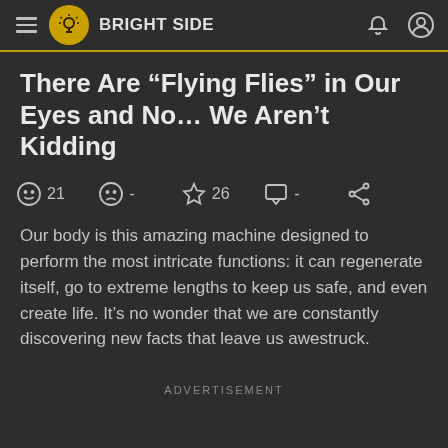BRIGHT SIDE
There Are “Flying Flies” in Our Eyes and No... We Aren’t Kidding
☺ 21   ☹ -   ☆ 26   □ -   ≤
Our body is this amazing machine designed to perform the most intricate functions: it can regenerate itself, go to extreme lengths to keep us safe, and even create life. It’s no wonder that we are constantly discovering new facts that leave us awestruck.
ADVERTISEMENT